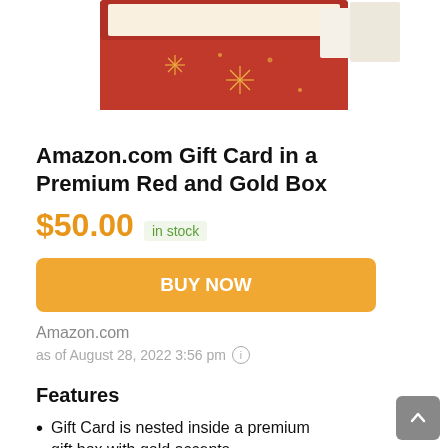[Figure (photo): Amazon gift card in a red and gold premium gift box with snowflake decorations, partially open to show a white interior]
Amazon.com Gift Card in a Premium Red and Gold Box
$50.00  in stock
BUY NOW
Amazon.com
as of August 28, 2022 3:56 pm ℹ
Features
Gift Card is nested inside a premium gift box with gold accents
Gift amount may not be printed on